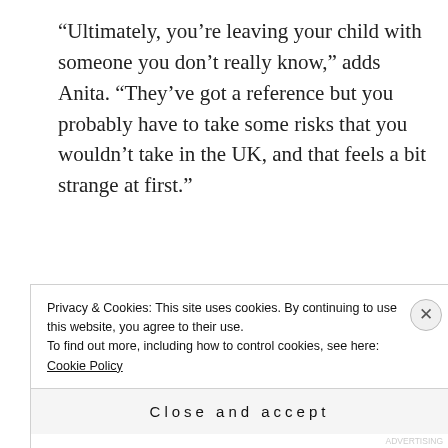“Ultimately, you’re leaving your child with someone you don’t really know,” adds Anita. “They’ve got a reference but you probably have to take some risks that you wouldn’t take in the UK, and that feels a bit strange at first.”
Advertisements
[Figure (logo): Automattic logo with tagline: Build a better web and a better world.]
“The one massive help was that because they’re doing a lot of the boring household tasks, it means you’ve got more time to concentrate on being a family and doing
Privacy & Cookies: This site uses cookies. By continuing to use this website, you agree to their use.
To find out more, including how to control cookies, see here: Cookie Policy
Close and accept